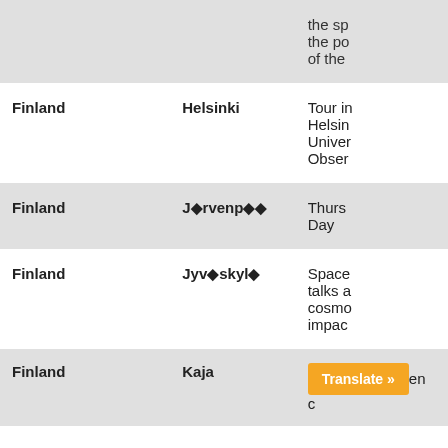| Country | City | Description |
| --- | --- | --- |
|  |  | the sp
the po
of the |
| Finland | Helsinki | Tour in
Helsin
Univer
Obser |
| Finland | J◈rvenp◈◈ | Thurs
Day |
| Finland | Jyv◈skyl◈ | Space
talks a
cosmo
impac |
| Finland | Kaja | en (translate button overlaid) |